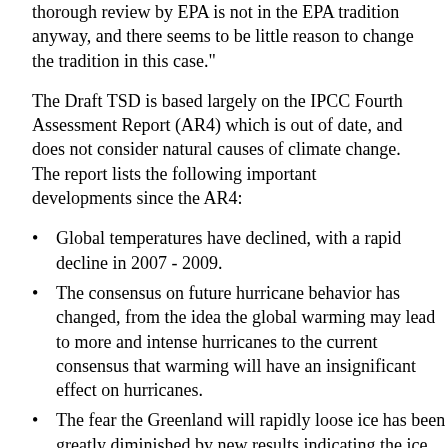thorough review by EPA is not in the EPA tradition anyway, and there seems to be little reason to change the tradition in this case."
The Draft TSD is based largely on the IPCC Fourth Assessment Report (AR4) which is out of date, and does not consider natural causes of climate change. The report lists the following important developments since the AR4:
Global temperatures have declined, with a rapid decline in 2007 - 2009.
The consensus on future hurricane behavior has changed, from the idea the global warming may lead to more and intense hurricanes to the current consensus that warming will have an insignificant effect on hurricanes.
The fear the Greenland will rapidly loose ice has been greatly diminished by new results indicating the ice movement has